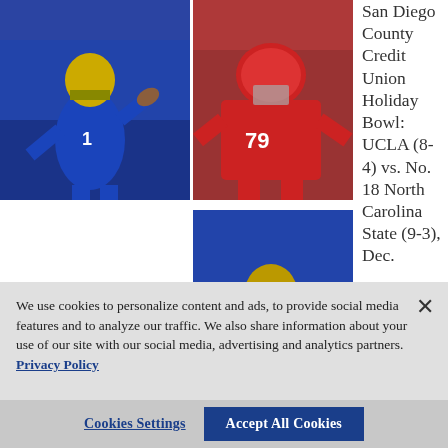[Figure (photo): UCLA football player in blue and gold uniform dropping back to pass]
[Figure (photo): North Carolina State football player #79 in red uniform in a lineman stance]
[Figure (photo): UCLA football player #24 in blue and gold uniform running with the ball]
View All (4)
San Diego County Credit Union Holiday Bowl: UCLA (8-4) vs. No. 18 North Carolina State (9-3), Dec.
We use cookies to personalize content and ads, to provide social media features and to analyze our traffic. We also share information about your use of our site with our social media, advertising and analytics partners.  Privacy Policy
Cookies Settings
Accept All Cookies